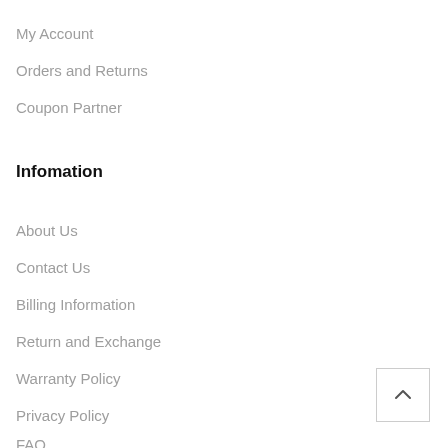My Account
Orders and Returns
Coupon Partner
Infomation
About Us
Contact Us
Billing Information
Return and Exchange
Warranty Policy
Privacy Policy
FAQ